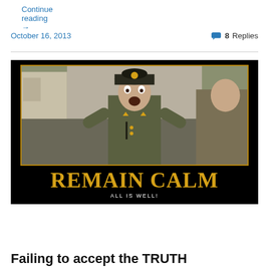Continue reading →
October 16, 2013
8 Replies
[Figure (photo): A meme image with black background featuring a man in military uniform with shocked expression and arms raised, with text 'REMAIN CALM' in large gold letters and 'ALL IS WELL!' in white beneath it.]
Failing to accept the TRUTH